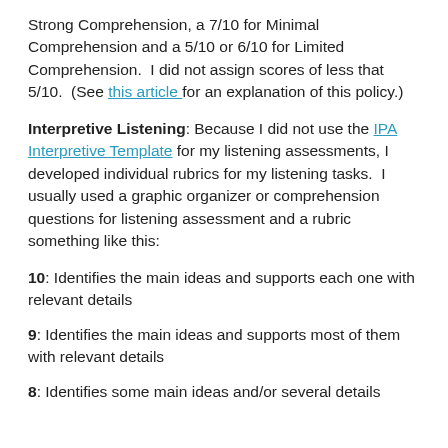Strong Comprehension, a 7/10 for Minimal Comprehension and a 5/10 or 6/10 for Limited Comprehension.  I did not assign scores of less that 5/10.  (See this article for an explanation of this policy.)
Interpretive Listening: Because I did not use the IPA Interpretive Template for my listening assessments, I developed individual rubrics for my listening tasks.  I usually used a graphic organizer or comprehension questions for listening assessment and a rubric something like this:
10: Identifies the main ideas and supports each one with relevant details
9: Identifies the main ideas and supports most of them with relevant details
8: Identifies some main ideas and/or several details